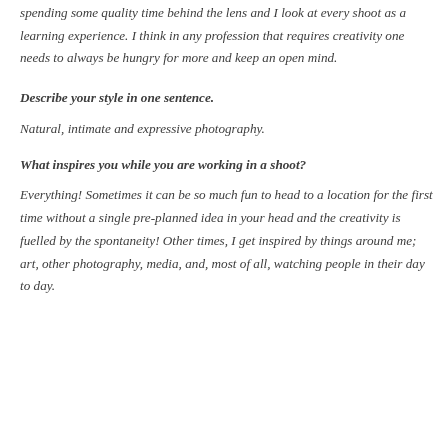spending some quality time behind the lens and I look at every shoot as a learning experience. I think in any profession that requires creativity one needs to always be hungry for more and keep an open mind.
Describe your style in one sentence.
Natural, intimate and expressive photography.
What inspires you while you are working in a shoot?
Everything! Sometimes it can be so much fun to head to a location for the first time without a single pre-planned idea in your head and the creativity is fuelled by the spontaneity! Other times, I get inspired by things around me; art, other photography, media, and, most of all, watching people in their day to day.